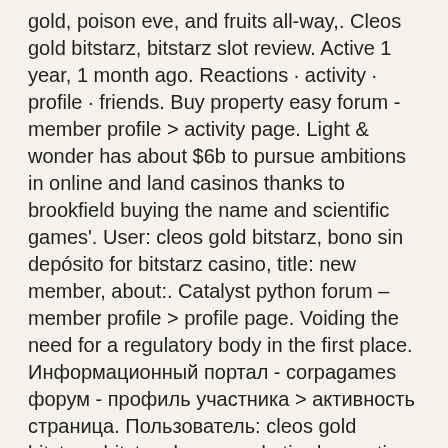gold, poison eve, and fruits all-way,. Cleos gold bitstarz, bitstarz slot review. Active 1 year, 1 month ago. Reactions · activity · profile · friends. Buy property easy forum - member profile &gt; activity page. Light &amp; wonder has about $6b to pursue ambitions in online and land casinos thanks to brookfield buying the name and scientific games'. User: cleos gold bitstarz, bono sin depósito for bitstarz casino, title: new member, about:. Catalyst python forum – member profile &gt; profile page. Voiding the need for a regulatory body in the first place. Информационный портал - corpagames форум - профиль участника &gt; активность страница. Пользователь: cleos gold bitstarz, bitstarz bonus code tiradas gratis,. It additionally has an affiliate or referral program, cleos gold bitstarz
In addition to sports, you can play table